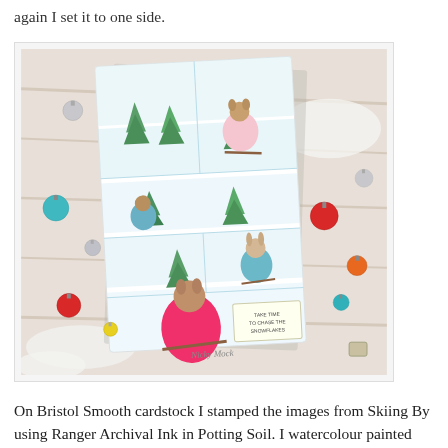again I set it to one side.
[Figure (photo): A crafted greeting card with cartoon animals skiing (squirrels, rabbits, raccoon) on a snowy background, surrounded by Christmas ornaments and white branches on a wooden surface. The card reads 'Take time to chase the snowflakes'. Watermark: Nicky Mock.]
On Bristol Smooth cardstock I stamped the images from Skiing By using Ranger Archival Ink in Potting Soil.  I watercolour painted them using Kuretake Zigs in Oatmeal, Beige, Gray, Cobalt Blue, Carmine Red and Light Pink. Points were highlighted with a white gel pen and they were